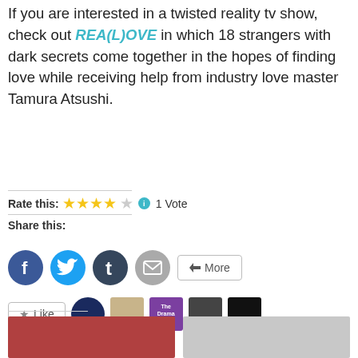If you are interested in a twisted reality tv show, check out REA(L)OVE in which 18 strangers with dark secrets come together in the hopes of finding love while receiving help from industry love master Tamura Atsushi.
Rate this: ★★★★☆ 1 Vote
Share this:
[Figure (infographic): Social share buttons: Facebook (blue circle), Twitter (blue circle), Tumblr (dark circle), Email (gray circle), More button]
[Figure (infographic): Like button and 5 blogger avatar thumbnails]
5 bloggers like this.
Related
[Figure (photo): Two related article thumbnail images side by side]